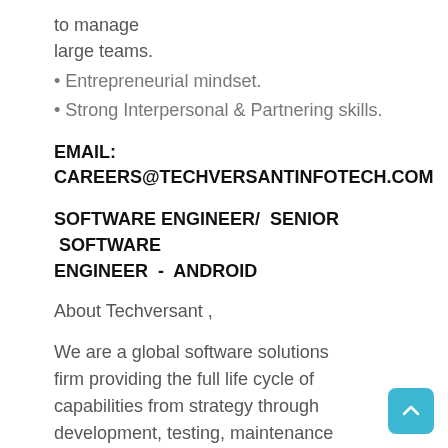to manage large teams.
• Entrepreneurial mindset.
• Strong Interpersonal & Partnering skills.
EMAIL:
CAREERS@TECHVERSANTINFOTECH.COM
SOFTWARE ENGINEER/ SENIOR SOFTWARE ENGINEER - ANDROID
About Techversant ,
We are a global software solutions firm providing the full life cycle of capabilities from strategy through development, testing, maintenance and outsourcing. Techversant, offers expertize and consultation in multiple